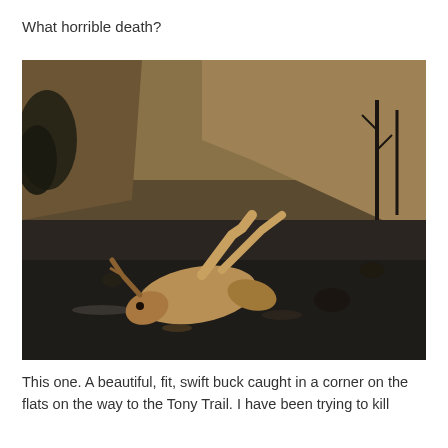What horrible death?
[Figure (photo): A dead deer lying on a burnt, ash-covered landscape with charred hillside and scorched trees in the background after a wildfire.]
This one. A beautiful, fit, swift buck caught in a corner on the flats on the way to the Tony Trail. I have been trying to kill